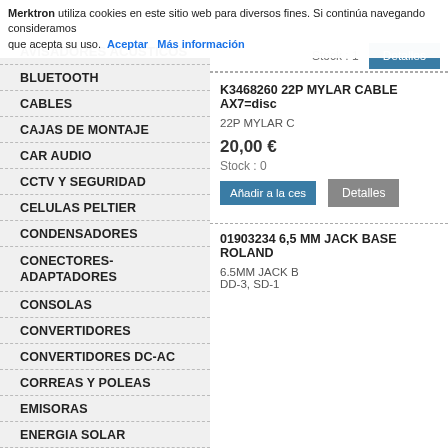AVISADORES ACUSTICOS
Merktron utiliza cookies en este sitio web para diversos fines. Si continúa navegando consideramos que acepta su uso. Aceptar  Más información
BLUETOOTH
CABLES
CAJAS DE MONTAJE
CAR AUDIO
CCTV Y SEGURIDAD
CELULAS PELTIER
CONDENSADORES
CONECTORES-ADAPTADORES
CONSOLAS
CONVERTIDORES
CONVERTIDORES DC-AC
CORREAS Y POLEAS
EMISORAS
ENERGIA SOLAR
FINALES DE CARRERA
FRISBEE
FUENTES ALIMENTACION
FUSIBLES
GAMA BLANCA
Stock : 1   Detalles
K3468260 22P MYLAR CABLE AX7=disc
22P MYLAR C
20,00 €
Stock : 0
Añadir a la ces   Detalles
01903234 6,5 MM JACK BASE ROLAND
6.5MM JACK B DD-3, SD-1